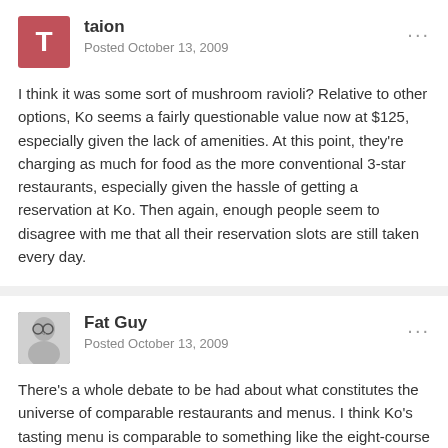taion
Posted October 13, 2009
I think it was some sort of mushroom ravioli? Relative to other options, Ko seems a fairly questionable value now at $125, especially given the lack of amenities. At this point, they're charging as much for food as the more conventional 3-star restaurants, especially given the hassle of getting a reservation at Ko. Then again, enough people seem to disagree with me that all their reservation slots are still taken every day.
Fat Guy
Posted October 13, 2009
There's a whole debate to be had about what constitutes the universe of comparable restaurants and menus. I think Ko's tasting menu is comparable to something like the eight-course tasting menu at Daniel, which is currently priced at $195. You get